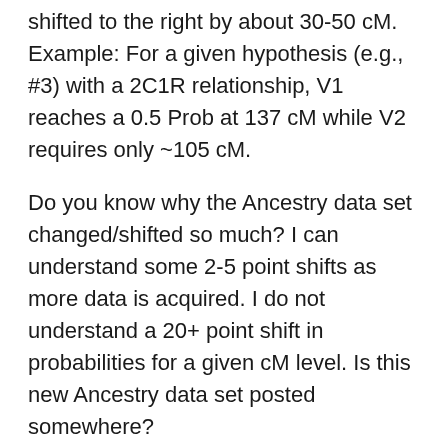shifted to the right by about 30-50 cM. Example: For a given hypothesis (e.g., #3) with a 2C1R relationship, V1 reaches a 0.5 Prob at 137 cM while V2 requires only ~105 cM.
Do you know why the Ancestry data set changed/shifted so much? I can understand some 2-5 point shifts as more data is acquired. I do not understand a 20+ point shift in probabilities for a given cM level. Is this new Ancestry data set posted somewhere?
Also, having two different data sets operating in the Shared CM Project 4.0